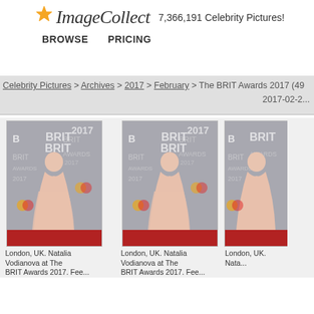[Figure (logo): ImageCollect logo with star icon and tagline '7,366,191 Celebrity Pictures!']
BROWSE   PRICING
Celebrity Pictures > Archives > 2017 > February > The BRIT Awards 2017 (49...
2017-02-2...
[Figure (photo): London, UK. Natalia Vodianova at The BRIT Awards 2017. Red carpet photo.]
London, UK. Natalia Vodianova at The BRIT Awards 2017. Fee...
[Figure (photo): London, UK. Natalia Vodianova at The BRIT Awards 2017. Red carpet photo.]
London, UK. Natalia Vodianova at The BRIT Awards 2017. Fee...
[Figure (photo): London, UK. Natalia Vodianova at The BRIT Awards 2017. Partially cropped.]
London, UK. Nata...